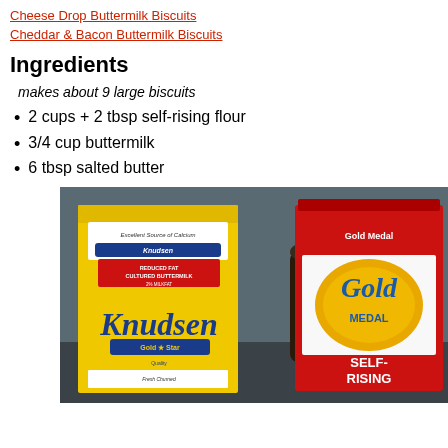Cheese Drop Buttermilk Biscuits
Cheddar & Bacon Buttermilk Biscuits
Ingredients
makes about 9 large biscuits
2 cups + 2 tbsp self-rising flour
3/4 cup buttermilk
6 tbsp salted butter
[Figure (photo): Photo of Knudsen Reduced Fat Cultured Buttermilk carton (yellow, with blue and gold labels) next to a red bag of Gold Medal Self-Rising flour, with a dark bottle and small jar in the background on a counter.]